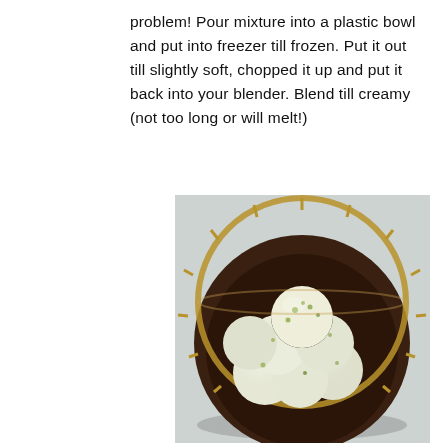problem! Pour mixture into a plastic bowl and put into freezer till frozen. Put it out till slightly soft, chopped it up and put it back into your blender. Blend till creamy (not too long or will melt!)
[Figure (photo): Overhead view of scoops of white/pale green ice cream (likely coconut-lime) piled in a round dark wooden basket with bamboo lacing around the rim, placed on a light blue-gray cloth surface.]